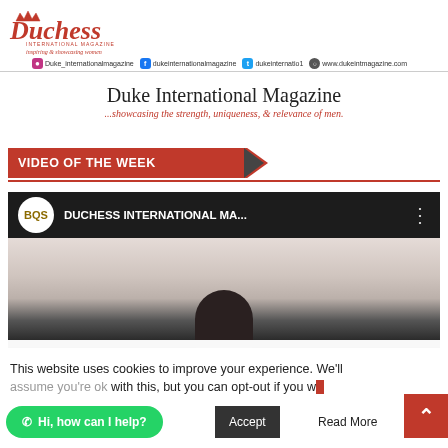Duchess International Magazine — inspiring & showcasing women
Duke_internationalmagazine | dukeinternationalmagazine | dukeinternatio1 | www.dukeintmagazine.com
Duke International Magazine
...showcasing the strength, uniqueness, & relevance of men.
VIDEO OF THE WEEK
[Figure (screenshot): YouTube video player screenshot showing BQS channel logo and 'DUCHESS INTERNATIONAL MA...' video title on a dark background with a person's head visible below.]
This website uses cookies to improve your experience. We'll assume you're ok with this, but you can opt-out if you wish.
Hi, how can I help?
Accept
Read More